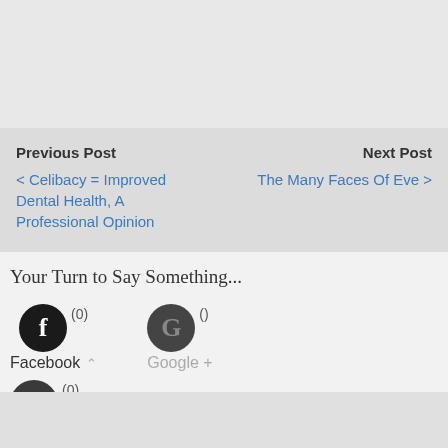Previous Post
< Celibacy = Improved Dental Health, A Professional Opinion
Next Post
The Many Faces Of Eve >
Your Turn to Say Something...
[Figure (infographic): Social commenting tabs with Facebook (0), Google+ (), and Disqus (0) icons and counts]
Facebook (0) Google + () Disqus (0)